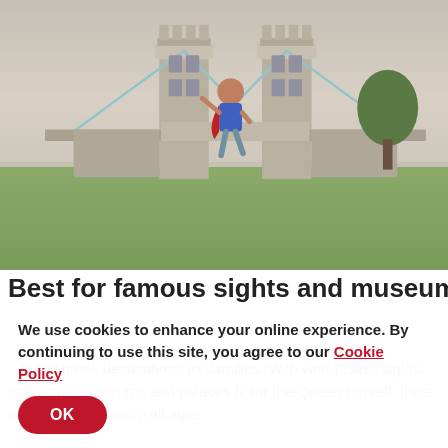[Figure (photo): A child dressed as a superhero with a blue mask and red cape, jumping with one arm raised, in front of Tower Bridge in London. The scene shows a grassy area with the iconic bridge towers in the background and trees to the right. The image has a slightly desaturated, vintage tonal quality.]
Best for famous sights and museums
...K city break destinations for families. With world-class sights, interactive museums and palaces fit for the Queen herself, there is something to keep all ages...
We use cookies to enhance your online experience. By continuing to use this site, you agree to our Cookie Policy